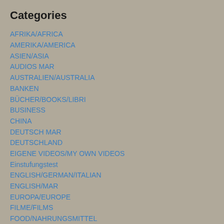Categories
AFRIKA/AFRICA
AMERIKA/AMERICA
ASIEN/ASIA
AUDIOS MAR
AUSTRALIEN/AUSTRALIA
BANKEN
BÜCHER/BOOKS/LIBRI
BUSINESS
CHINA
DEUTSCH MAR
DEUTSCHLAND
EIGENE VIDEOS/MY OWN VIDEOS
Einstufungstest
ENGLISH/GERMAN/ITALIAN
ENGLISH/MAR
EUROPA/EUROPE
FILME/FILMS
FOOD/NAHRUNGSMITTEL